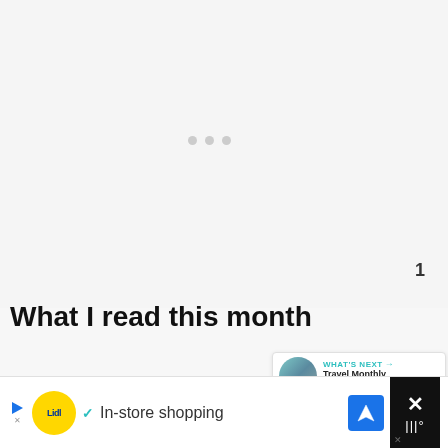[Figure (other): Loading placeholder area with three small grey dots centered, representing an unloaded image or advertisement]
[Figure (other): Teal circular like/heart button with heart icon, count of 1 below it, and a circular share button]
What I read this month
[Figure (other): What's Next panel showing a circular thumbnail photo of a landscape and text: WHAT'S NEXT → Travel Monthly Recap:...]
I finally finished the Tattoist of Auschwitz and it was a great book. I thought I would dive into the next book bu...
[Figure (other): Advertisement bar: Lidl ad with play icon, Lidl logo, checkmark, In-store shopping text, navigation icon, and close X button]